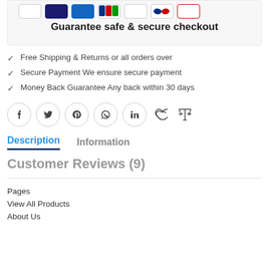[Figure (other): Payment method icons row (partial, cropped at top)]
Guarantee safe & secure checkout
Free Shipping & Returns or all orders over
Secure Payment We ensure secure payment
Money Back Guarantee Any back within 30 days
[Figure (other): Social share icons: Facebook, Twitter, Pinterest, WhatsApp, LinkedIn, Heart (wishlist), Scales (compare)]
Description
Information
Customer Reviews (9)
Pages
View All Products
About Us